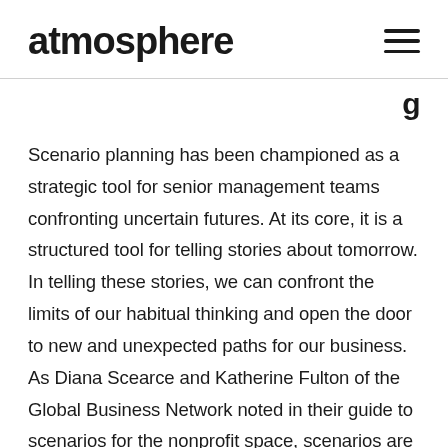atmosphere
Scenario planning has been championed as a strategic tool for senior management teams confronting uncertain futures. At its core, it is a structured tool for telling stories about tomorrow. In telling these stories, we can confront the limits of our habitual thinking and open the door to new and unexpected paths for our business. As Diana Scearce and Katherine Fulton of the Global Business Network noted in their guide to scenarios for the nonprofit space, scenarios are